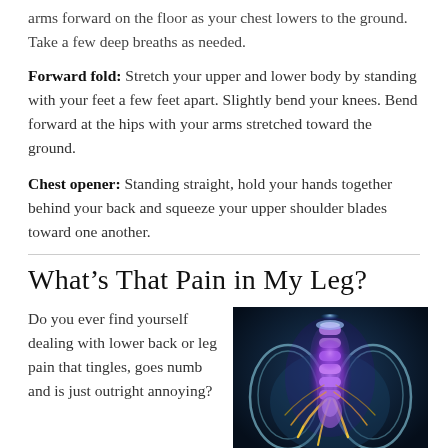arms forward on the floor as your chest lowers to the ground. Take a few deep breaths as needed.
Forward fold: Stretch your upper and lower body by standing with your feet a few feet apart. Slightly bend your knees. Bend forward at the hips with your arms stretched toward the ground.
Chest opener: Standing straight, hold your hands together behind your back and squeeze your upper shoulder blades toward one another.
What's That Pain in My Leg?
Do you ever find yourself dealing with lower back or leg pain that tingles, goes numb and is just outright annoying?
[Figure (illustration): Medical illustration of the human spine, pelvis, and lower back nerves glowing in purple and gold against a dark blue background, showing spinal anatomy]